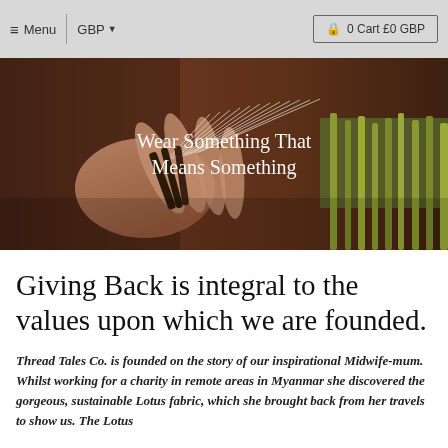≡ Menu  GBP ▾  0 Cart £0 GBP
[Figure (photo): Close-up photo of hands holding lotus stems being prepared for weaving, with text overlay reading 'Wear Something That Means Something']
Giving Back is integral to the values upon which we are founded.
Thread Tales Co. is founded on the story of our inspirational Midwife-mum. Whilst working for a charity in remote areas in Myanmar she discovered the gorgeous, sustainable Lotus fabric, which she brought back from her travels to show us. The Lotus